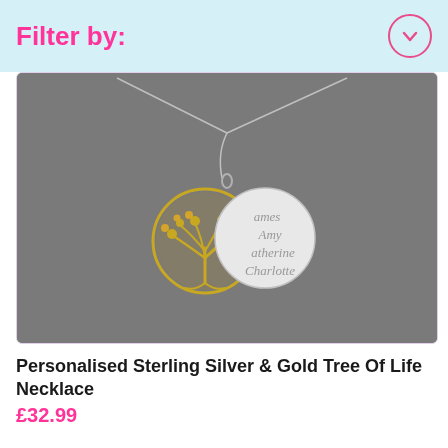Filter by:
[Figure (photo): A personalised sterling silver and gold Tree of Life necklace with two pendants: a gold filigree tree of life charm and a silver disc engraved with names James, Amy, Catherine, Charlotte, on a silver chain, against a grey background.]
Personalised Sterling Silver & Gold Tree Of Life Necklace
£32.99